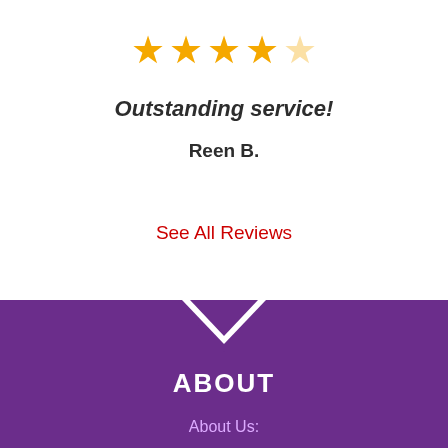[Figure (other): 4 filled gold stars and 1 empty star rating]
Outstanding service!
Reen B.
See All Reviews
ABOUT
About Us: